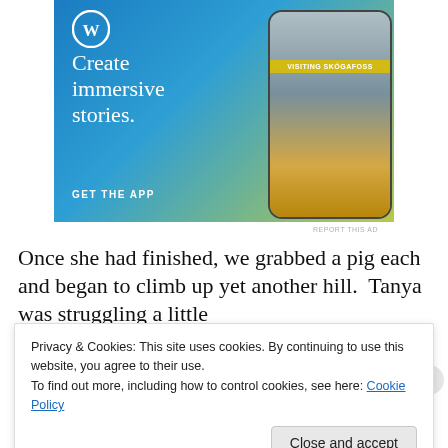[Figure (illustration): WordPress.com advertisement banner with blue-to-green gradient background. WordPress logo (W in circle) top left. White serif text reads 'Create immersive stories.' on the left. Right side shows a phone mockup with a waterfall/nature scene and yellow banner reading 'VISITING SKÓGAFOSS'. Bottom left shows 'GET THE APP' in white bold caps. Small gray 'REPORT THIS AD' text below the banner.]
Once she had finished, we grabbed a pig each and began to climb up yet another hill. Tanya was struggling a little
Privacy & Cookies: This site uses cookies. By continuing to use this website, you agree to their use.
To find out more, including how to control cookies, see here: Cookie Policy
Close and accept